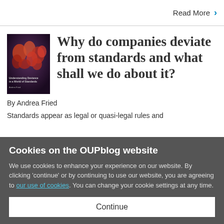Read More ›
[Figure (illustration): Book cover of 'Understanding Deviance in a World of Standards' with dark abstract figures]
Why do companies deviate from standards and what shall we do about it?
By Andrea Fried
Standards appear as legal or quasi-legal rules and
Cookies on the OUPblog website
We use cookies to enhance your experience on our website. By clicking 'continue' or by continuing to use our website, you are agreeing to our use of cookies. You can change your cookie settings at any time.
Continue